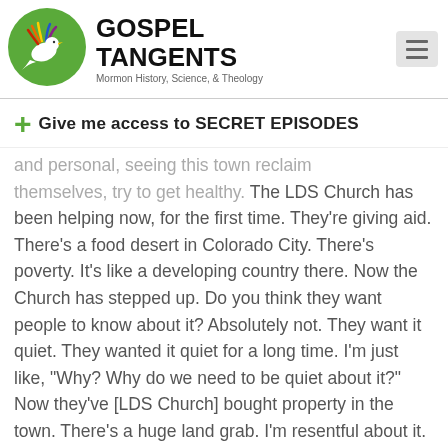[Figure (logo): Gospel Tangents logo: green circle with a stylized white dove/bird with colorful wing feathers, next to bold text GOSPEL TANGENTS and subtitle Mormon History, Science, & Theology]
+ Give me access to SECRET EPISODES
and personal, seeing this town reclaim themselves, try to get healthy. The LDS Church has been helping now, for the first time. They're giving aid. There's a food desert in Colorado City. There's poverty. It's like a developing country there. Now the Church has stepped up. Do you think they want people to know about it? Absolutely not. They want it quiet. They wanted it quiet for a long time. I'm just like, "Why? Why do we need to be quiet about it?" Now they've [LDS Church] bought property in the town. There's a huge land grab. I'm resentful about it. Because I'm like, "Oh, all of a sudden now that